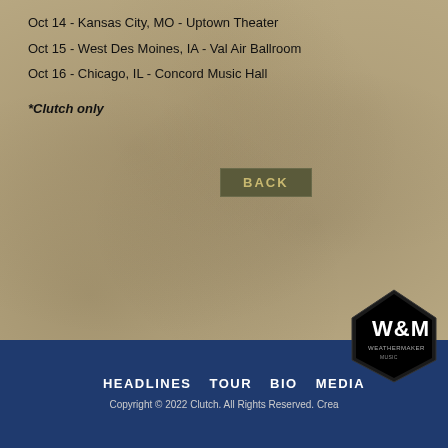Oct 14 - Kansas City, MO - Uptown Theater
Oct 15 - West Des Moines, IA - Val Air Ballroom
Oct 16 - Chicago, IL - Concord Music Hall
*Clutch only
[Figure (other): BACK button - dark olive/khaki rectangular button with gold text 'BACK' and letter-spacing]
HEADLINES   TOUR   BIO   MEDIA
Copyright © 2022 Clutch. All Rights Reserved. Crea
[Figure (logo): Weathermaker Music diamond-shaped logo with W&M text in bottom right of footer]